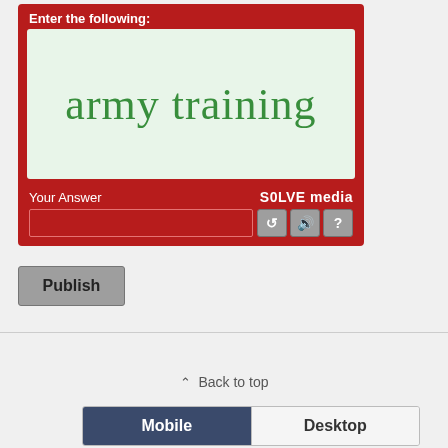[Figure (screenshot): CAPTCHA widget with red background. Shows label 'Enter the following:' at top, a light green box containing the text 'army training' in dark green serif font, then 'Your Answer' label with 'SOLVE media' branding, an input field, and icon buttons for refresh, audio, and help.]
Publish
⌃ Back to top
Mobile   Desktop